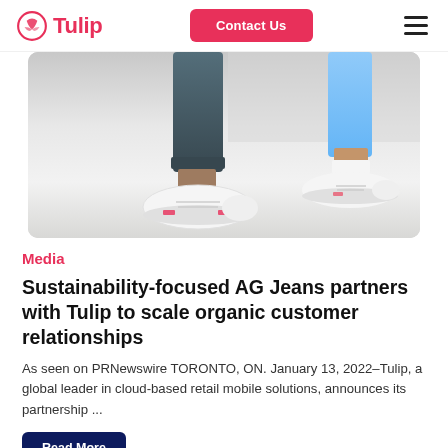Tulip | Contact Us
[Figure (photo): Close-up photo of two people's lower legs and feet wearing white sneakers/chunky trainers, one wearing dark grey jeans and one wearing light blue jeans, standing on a light grey floor]
Media
Sustainability-focused AG Jeans partners with Tulip to scale organic customer relationships
As seen on PRNewswire TORONTO, ON. January 13, 2022–Tulip, a global leader in cloud-based retail mobile solutions, announces its partnership ...